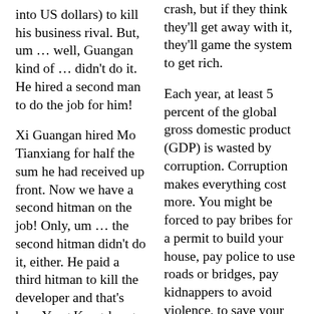into US dollars) to kill his business rival. But, um … well, Guangan kind of … didn't do it. He hired a second man to do the job for him!
Xi Guangan hired Mo Tianxiang for half the sum he had received up front. Now we have a second hitman on the job! Only, um … the second hitman didn't do it, either. He paid a third hitman to kill the developer and that's how Yang Kangsheng got the contract. Yang …
crash, but if they think they'll get away with it, they'll game the system to get rich.
Each year, at least 5 percent of the global gross domestic product (GDP) is wasted by corruption. Corruption makes everything cost more. You might be forced to pay bribes for a permit to build your house, pay police to use roads or bridges, pay kidnappers to avoid violence, to save your